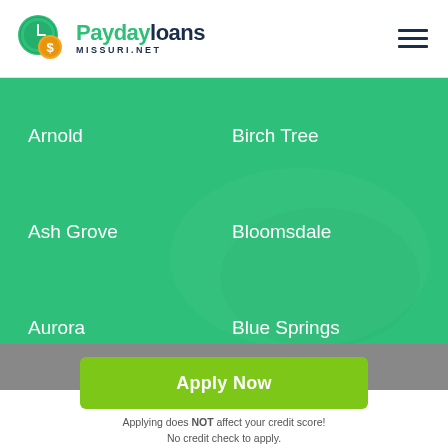[Figure (logo): Paydayloans Missouri.NET logo with clock and coin icon]
Arnold
Birch Tree
Ash Grove
Bloomsdale
Aurora
Blue Springs
Apply Now
Applying does NOT affect your credit score!
No credit check to apply.